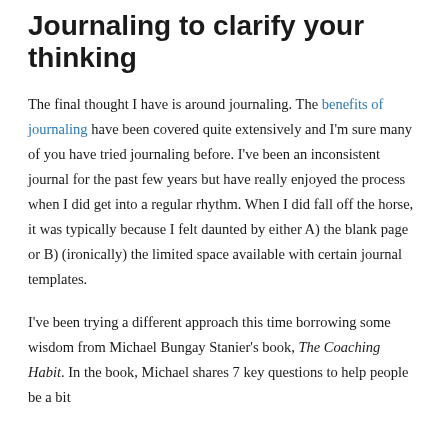Journaling to clarify your thinking
The final thought I have is around journaling. The benefits of journaling have been covered quite extensively and I'm sure many of you have tried journaling before. I've been an inconsistent journal for the past few years but have really enjoyed the process when I did get into a regular rhythm. When I did fall off the horse, it was typically because I felt daunted by either A) the blank page or B) (ironically) the limited space available with certain journal templates.
I've been trying a different approach this time borrowing some wisdom from Michael Bungay Stanier's book, The Coaching Habit. In the book, Michael shares 7 key questions to help people be a bit...